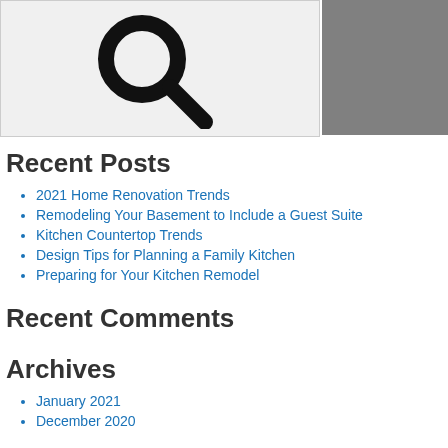[Figure (illustration): Search icon (magnifying glass) on light gray background]
Recent Posts
2021 Home Renovation Trends
Remodeling Your Basement to Include a Guest Suite
Kitchen Countertop Trends
Design Tips for Planning a Family Kitchen
Preparing for Your Kitchen Remodel
Recent Comments
Archives
January 2021
December 2020